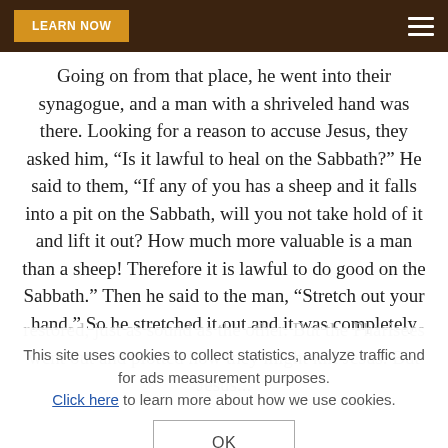LEARN NOW
Going on from that place, he went into their synagogue, and a man with a shriveled hand was there. Looking for a reason to accuse Jesus, they asked him, “Is it lawful to heal on the Sabbath?” He said to them, “If any of you has a sheep and it falls into a pit on the Sabbath, will you not take hold of it and lift it out? How much more valuable is a man than a sheep! Therefore it is lawful to do good on the Sabbath.” Then he said to the man, “Stretch out your hand.” So he stretched it out and it was completely
restored, just as sound as the other. But the Pharisees went out and plotted how they might kill Jesus. But Jesus...
This site uses cookies to collect statistics, analyze traffic and for ads measurement purposes. Click here to learn more about how we use cookies.
OK